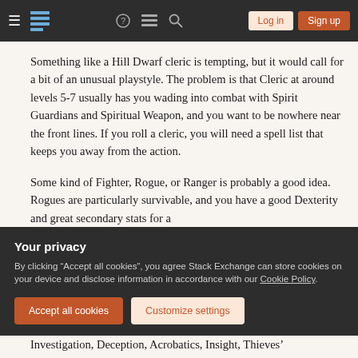Stack Exchange navigation bar with hamburger menu, logo, help, chat, search icons, Log in and Sign up buttons
Something like a Hill Dwarf cleric is tempting, but it would call for a bit of an unusual playstyle. The problem is that Cleric at around levels 5-7 usually has you wading into combat with Spirit Guardians and Spiritual Weapon, and you want to be nowhere near the front lines. If you roll a cleric, you will need a spell list that keeps you away from the action.
Some kind of Fighter, Rogue, or Ranger is probably a good idea. Rogues are particularly survivable, and you have a good Dexterity and great secondary stats for a
Your privacy
By clicking “Accept all cookies”, you agree Stack Exchange can store cookies on your device and disclose information in accordance with our Cookie Policy.
Accept all cookies
Customize settings
Investigation, Deception, Acrobatics, Insight, Thieves’